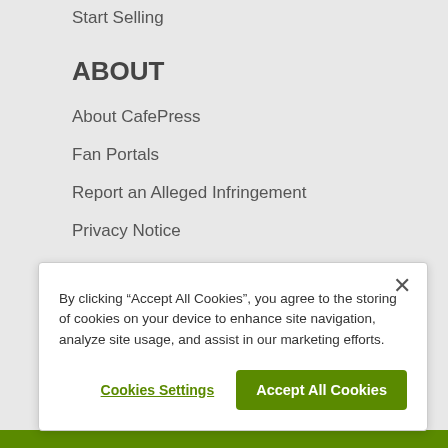Start Selling
ABOUT
About CafePress
Fan Portals
Report an Alleged Infringement
Privacy Notice
Sitemap
Terms of Use
By clicking “Accept All Cookies”, you agree to the storing of cookies on your device to enhance site navigation, analyze site usage, and assist in our marketing efforts.